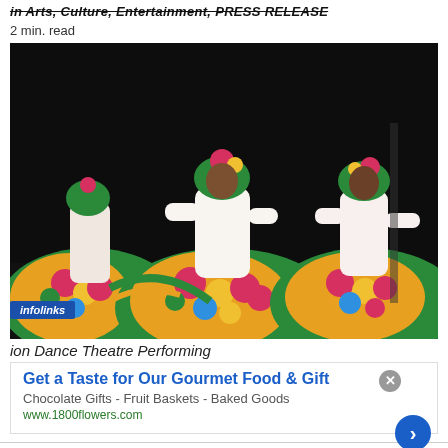in Arts, Culture, Entertainment, PRESS RELEASE
2 min. read
[Figure (photo): Dancers in colorful floral green and pink traditional costumes with matching head wraps performing on stage against a dark background.]
ion Dance Theatre Performing
Get a Taste for Our Gourmet Food & Gift
Chocolate Gifts - Fruit Baskets - Baked Goods
www.1800flowers.com